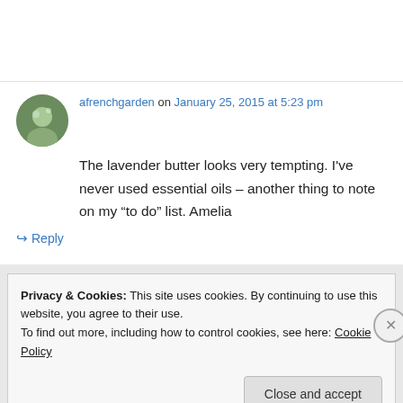afrenchgarden on January 25, 2015 at 5:23 pm
The lavender butter looks very tempting. I've never used essential oils – another thing to note on my “to do” list. Amelia
↳ Reply
Privacy & Cookies: This site uses cookies. By continuing to use this website, you agree to their use. To find out more, including how to control cookies, see here: Cookie Policy
Close and accept